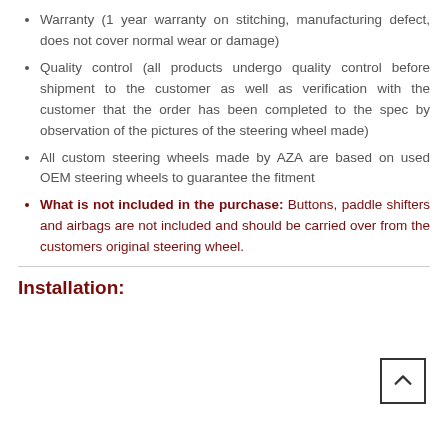Warranty (1 year warranty on stitching, manufacturing defect, does not cover normal wear or damage)
Quality control (all products undergo quality control before shipment to the customer as well as verification with the customer that the order has been completed to the spec by observation of the pictures of the steering wheel made)
All custom steering wheels made by AZA are based on used OEM steering wheels to guarantee the fitment
What is not included in the purchase: Buttons, paddle shifters and airbags are not included and should be carried over from the customers original steering wheel.
Installation: